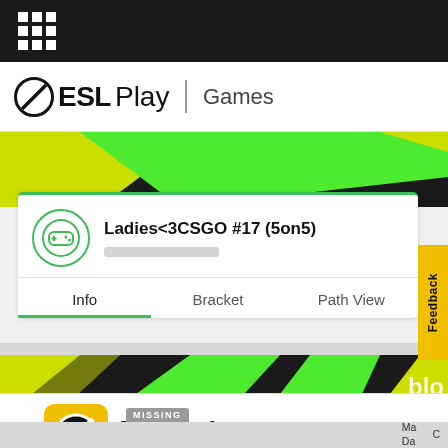[Figure (screenshot): ESL Play website screenshot showing game lobby page for Ladies<3CSGO #17 (5on5) with navigation tabs Info, Bracket, Path View, a Feedback button, and an ESL Play App banner at the bottom with Open button]
ESL Play | Games
Ladies<3CSGO #17 (5on5)
Info	Bracket	Path View
ESL Play App
In App Store
Open